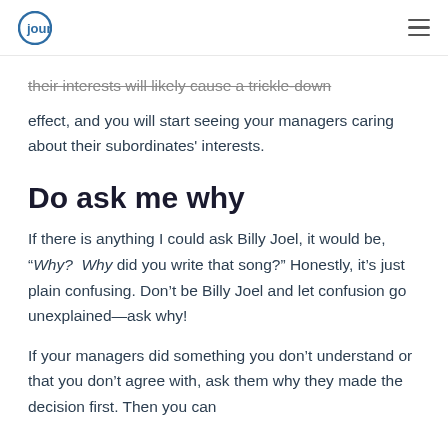journey (logo)
their interests will likely cause a trickle-down effect, and you will start seeing your managers caring about their subordinates' interests.
Do ask me why
If there is anything I could ask Billy Joel, it would be, “Why? Why did you write that song?” Honestly, it’s just plain confusing. Don’t be Billy Joel and let confusion go unexplained—ask why!
If your managers did something you don’t understand or that you don’t agree with, ask them why they made the decision first. Then you can